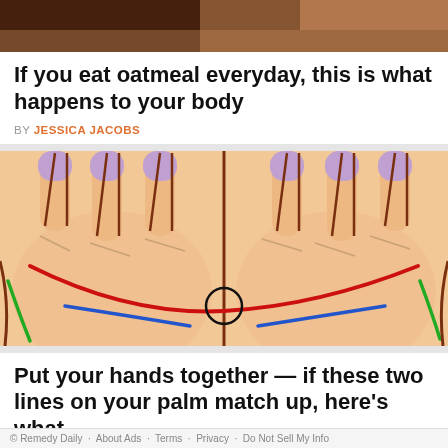[Figure (photo): Partial top image showing dark/warm tones, cropped food or lifestyle photo]
If you eat oatmeal everyday, this is what happens to your body
BY JESSICA JACOBS
[Figure (illustration): Illustration of two palms placed together showing colored palm lines — red curved heart line, blue and green shorter lines, with a circle at the center meeting point. Fingers visible at top with purple nail polish.]
Put your hands together — if these two lines on your palm match up, here's what
© Remedy Daily   About Ads   Terms   Privacy   Do Not Sell My Info